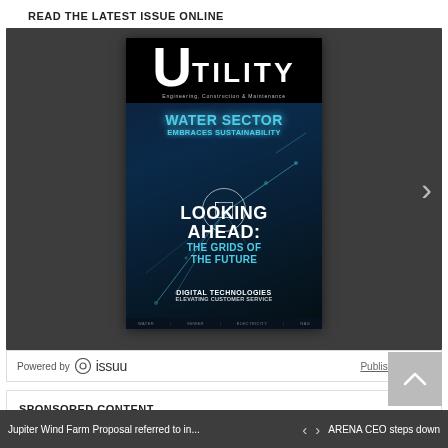READ THE LATEST ISSUE ONLINE
[Figure (screenshot): Utility magazine cover shown in an Issuu online reader embed. Dark gray background with a magazine cover showing 'UTILITY Engineering, Construction & Maintenance'. Cover headlines: 'WATER SECTOR EMBRACES SUSTAINABILITY', 'LOOKING AHEAD: THE GRIDS OF THE FUTURE', 'DIGITAL TECHNOLOGIES ELEVATING CUSTOMER SERVICE'. A right-arrow navigation chevron is visible on the right side.]
Powered by issuu    Publish for Free
SPONSORED CONTENT
Jupiter Wind Farm Proposal referred to in...
ARENA CEO steps down